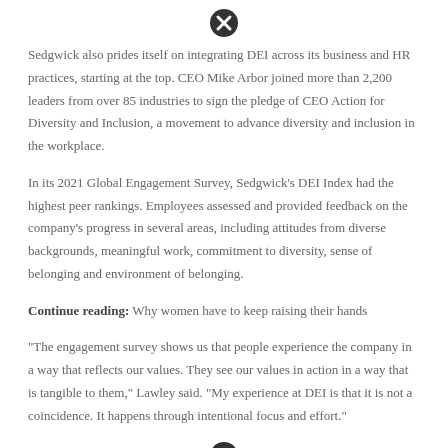[Figure (other): Close/cancel icon circle at top of page]
Sedgwick also prides itself on integrating DEI across its business and HR practices, starting at the top. CEO Mike Arbor joined more than 2,200 leaders from over 85 industries to sign the pledge of CEO Action for Diversity and Inclusion, a movement to advance diversity and inclusion in the workplace.
In its 2021 Global Engagement Survey, Sedgwick's DEI Index had the highest peer rankings. Employees assessed and provided feedback on the company's progress in several areas, including attitudes from diverse backgrounds, meaningful work, commitment to diversity, sense of belonging and environment of belonging.
Continue reading: Why women have to keep raising their hands
“The engagement survey shows us that people experience the company in a way that reflects our values. They see our values in action in a way that is tangible to them,” Lawley said. “My experience at DEI is that it is not a coincidence. It happens through intentional focus and effort.”
[Figure (other): Close/cancel icon circle at bottom of page]